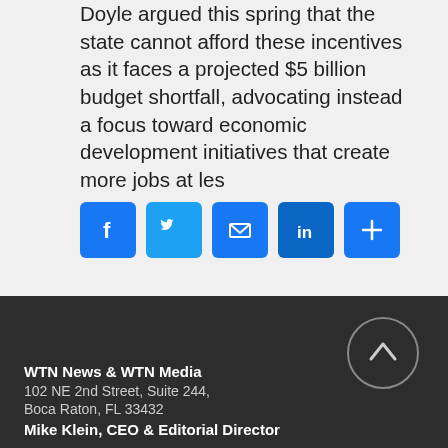Doyle argued this spring that the state cannot afford these incentives as it faces a projected $5 billion budget shortfall, advocating instead a focus toward economic development initiatives that create more jobs at les
[Figure (other): Row of five social media share buttons: Facebook (blue f), Twitter (blue bird), Email (blue envelope), LinkedIn (blue in), and More/Share (blue plus)]
WTN News & WTN Media
102 NE 2nd Street, Suite 244,
Boca Raton, FL 33432
Mike Klein, CEO & Editorial Director